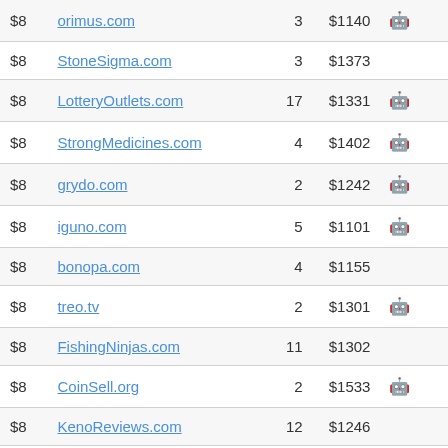| Price | Domain | Bids | Value | Icon |  |
| --- | --- | --- | --- | --- | --- |
| $8 | orimus.com | 3 | $1140 | 🤖 |  |
| $8 | StoneSigma.com | 3 | $1373 |  |  |
| $8 | LotteryOutlets.com | 17 | $1331 | 🤖 |  |
| $8 | StrongMedicines.com | 4 | $1402 | 🤖 |  |
| $8 | grydo.com | 2 | $1242 | 🤖 |  |
| $8 | iguno.com | 5 | $1101 | 🤖 |  |
| $8 | bonopa.com | 4 | $1155 |  |  |
| $8 | treo.tv | 2 | $1301 | 🤖 |  |
| $8 | FishingNinjas.com | 11 | $1302 |  |  |
| $8 | CoinSell.org | 2 | $1533 | 🤖 |  |
| $8 | KenoReviews.com | 12 | $1246 |  |  |
| $8 | ... | 1 | $1353 |  |  |